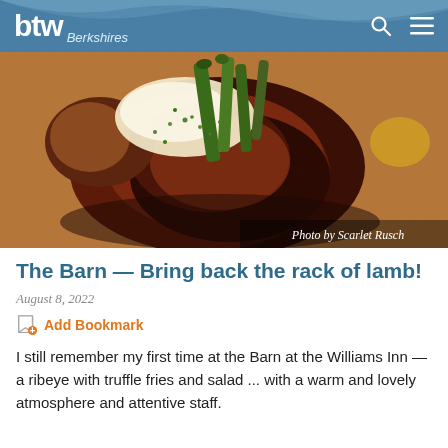btw Berkshires
[Figure (photo): Close-up food photo of a grilled rack of lamb or ribeye steak with asparagus and melted cheese/butter on a wooden cutting board, garnished with chopped chives. Photo credit: Scarlet Rusch.]
Photo by Scarlet Rusch
The Barn — Bring back the rack of lamb!
August 8, 2022
Add Bookmark
I still remember my first time at the Barn at the Williams Inn — a ribeye with truffle fries and salad ... with a warm and lovely atmosphere and attentive staff.